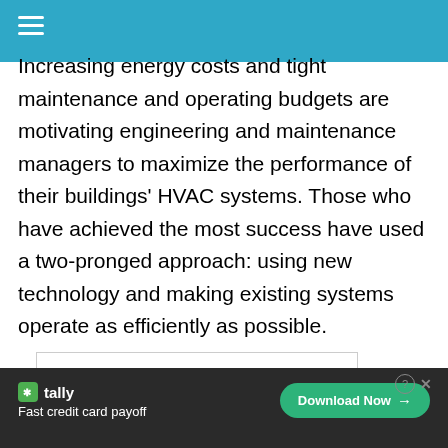Increasing energy costs and tight maintenance and operating budgets are motivating engineering and maintenance managers to maximize the performance of their buildings’ HVAC systems. Those who have achieved the most success have used a two-pronged approach: using new technology and making existing systems operate as efficiently as possible.
[Figure (photo): Partially visible image box with light border at the bottom of the content area]
Tally • Fast credit card payoff • Download Now